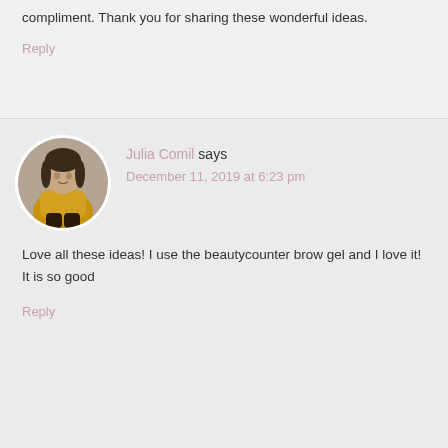compliment. Thank you for sharing these wonderful ideas.
Reply
Julia Comil says
December 11, 2019 at 6:23 pm
[Figure (photo): Circular avatar photo of Julia Comil, a young woman wearing a yellow outfit, sitting against a wall]
Love all these ideas! I use the beautycounter brow gel and I love it! It is so good
Reply